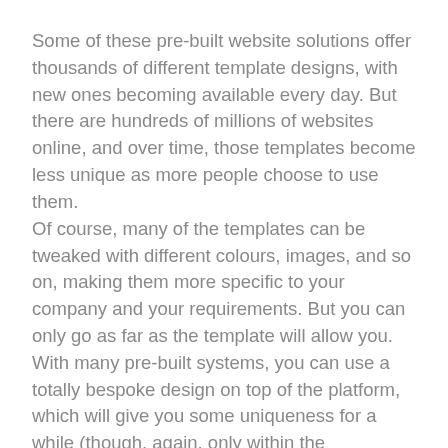Some of these pre-built website solutions offer thousands of different template designs, with new ones becoming available every day. But there are hundreds of millions of websites online, and over time, those templates become less unique as more people choose to use them.
Of course, many of the templates can be tweaked with different colours, images, and so on, making them more specific to your company and your requirements. But you can only go as far as the template will allow you.
With many pre-built systems, you can use a totally bespoke design on top of the platform, which will give you some uniqueness for a while (though, again, only within the constraints of the system's capabilities). The problem is, these systems are designed to be easy to replicate, and the code structure is always the same - so your design will not be unique for as long as you might like.
If you use a decent designer to create a template on top of a pre-built system, then you may well end up paying over